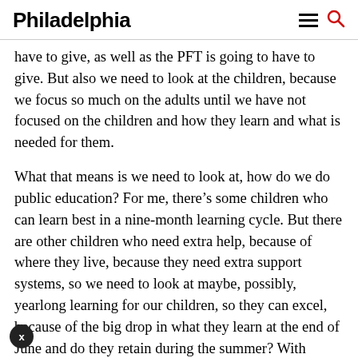Philadelphia
have to give, as well as the PFT is going to have to give. But also we need to look at the children, because we focus so much on the adults until we have not focused on the children and how they learn and what is needed for them.
What that means is we need to look at, how do we do public education? For me, there’s some children who can learn best in a nine-month learning cycle. But there are other children who need extra help, because of where they live, because they need extra support systems, so we need to look at maybe, possibly, yearlong learning for our children, so they can excel, because of the big drop in what they learn at the end of June and do they retain during the summer? With yearlong learning, I think